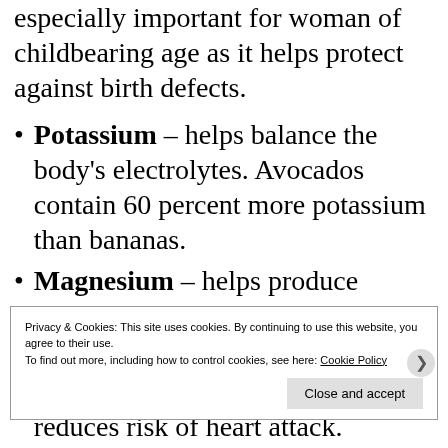especially important for woman of childbearing age as it helps protect against birth defects.
Potassium – helps balance the body's electrolytes. Avocados contain 60 percent more potassium than bananas.
Magnesium – helps produce energy and is important for muscle contraction and relaxation.
Fiber – lowers cholesterol and reduces risk of heart attack.
Privacy & Cookies: This site uses cookies. By continuing to use this website, you agree to their use. To find out more, including how to control cookies, see here: Cookie Policy
Close and accept